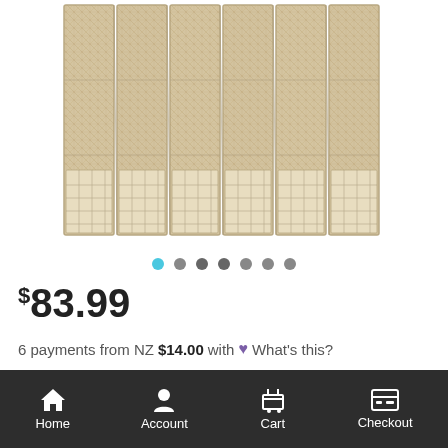[Figure (photo): A woven rattan/seagrass 6-panel room divider/folding screen in a natural tan/beige color, viewed slightly from above showing the front face with decorative woven panels and open lattice sections at the bottom.]
● ● ● ● ● ● ●
$83.99
6 payments from NZ $14.00 with ♥ What's this?
Earn 83 Treasure coins 🪙
SOLD OUT
Home  Account  Cart  Checkout